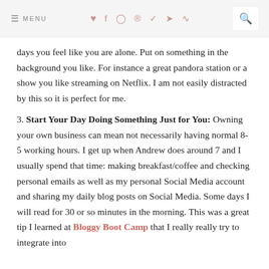≡ MENU  ♥ f ⊙ ® ✈ ➤ ))) 🔍
days you feel like you are alone. Put on something in the background you like. For instance a great pandora station or a show you like streaming on Netflix. I am not easily distracted by this so it is perfect for me.
3. Start Your Day Doing Something Just for You:
Owning your own business can mean not necessarily having normal 8-5 working hours. I get up when Andrew does around 7 and I usually spend that time: making breakfast/coffee and checking personal emails as well as my personal Social Media account and sharing my daily blog posts on Social Media. Some days I will read for 30 or so minutes in the morning. This was a great tip I learned at Bloggy Boot Camp that I really really try to integrate into